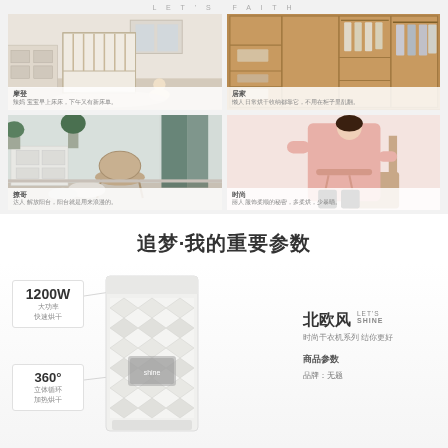LET'S FAITH
[Figure (photo): Baby room with white crib and infant]
[Figure (photo): Wooden wardrobe with organized shelves and hanging clothes]
[Figure (photo): Balcony with chairs and plants]
[Figure (photo): Fashion woman in pink outfit sitting]
摩登 辣妈 宝宝早上床床，下午又有新床单。
居家 懒人 日常烘干收纳都靠它，不用在柜子里乱翻。
撩哥 达人 解放阳台，阳台就是用来浪漫的。
时尚 丽人 服饰柔顺的秘密，多柔烘，少暴晒。
追梦·我的重要参数
[Figure (photo): White clothes dryer/drying cabinet with geometric pattern and product specifications callouts]
1200W 大功率 快速烘干
360° 立体循环 加热烘干
北欧风 LET'S SHINE 时尚干衣机系列 结你更好
商品参数
品牌：无题